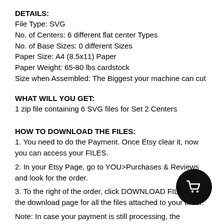DETAILS:
File Type: SVG
No. of Centers: 6 different flat center Types
No. of Base Sizes: 0 different Sizes
Paper Size: A4 (8.5x11) Paper
Paper Weight: 65-80 lbs cardstock
Size when Assembled: The Biggest your machine can cut
WHAT WILL YOU GET:
1 zip file containing 6 SVG files for Set 2 Centers
HOW TO DOWNLOAD THE FILES:
1. You need to do the Payment. Once Etsy clear it, now you can access your FILES.
2. In your Etsy Page, go to YOU>Purchases & Reviews and look for the order.
3. To the right of the order, click DOWNLOAD FILES. T... to the download page for all the files attached to your order.
Note: In case your payment is still processing, the Download